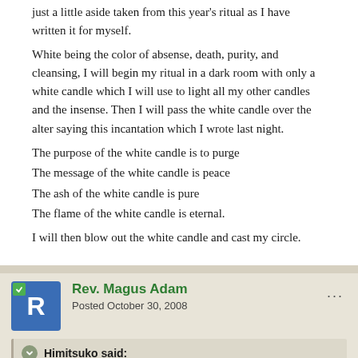just a little aside taken from this year's ritual as I have written it for myself.
White being the color of absense, death, purity, and cleansing, I will begin my ritual in a dark room with only a white candle which I will use to light all my other candles and the insense. Then I will pass the white candle over the alter saying this incantation which I wrote last night.
The purpose of the white candle is to purge
The message of the white candle is peace
The ash of the white candle is pure
The flame of the white candle is eternal.
I will then blow out the white candle and cast my circle.
Rev. Magus Adam
Posted October 30, 2008
Himitsuko said:
I haven't written about it in a while, but the reason that the